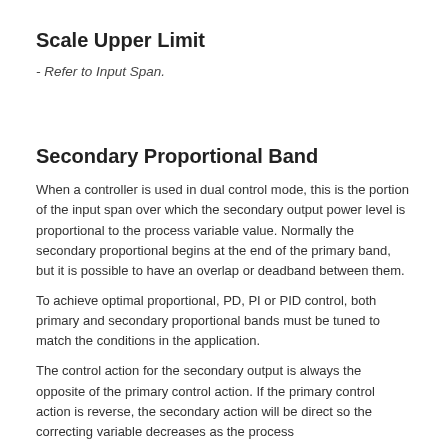Scale Upper Limit
- Refer to Input Span.
Secondary Proportional Band
When a controller is used in dual control mode, this is the portion of the input span over which the secondary output power level is proportional to the process variable value. Normally the secondary proportional begins at the end of the primary band, but it is possible to have an overlap or deadband between them.
To achieve optimal proportional, PD, PI or PID control, both primary and secondary proportional bands must be tuned to match the conditions in the application.
The control action for the secondary output is always the opposite of the primary control action. If the primary control action is reverse, the secondary action will be direct so the correcting variable decreases as the process